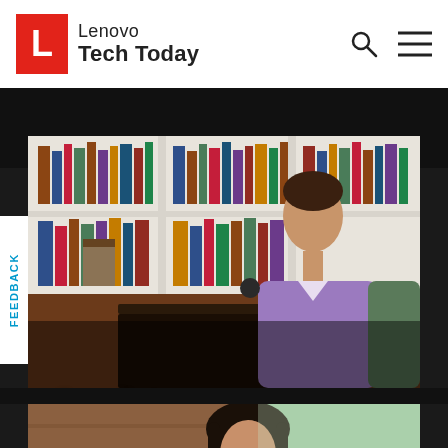Lenovo Tech Today
[Figure (photo): Man in purple shirt working on a laptop at a home office desk with a white bookshelf in the background. Overlay text reads 'Security >']
Security >
[Figure (photo): Asian woman in a light blue shirt looking down at a laptop, in a home living room setting with greenery visible through window in background.]